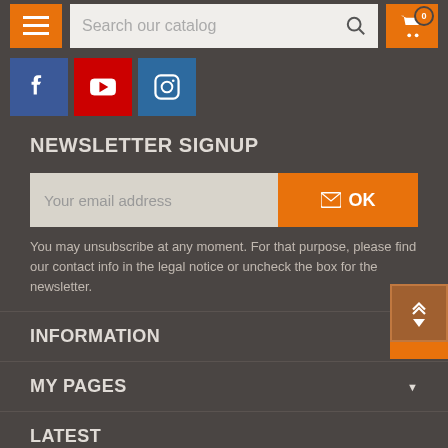[Figure (screenshot): Top navigation bar with hamburger menu button (orange), search field 'Search our catalog', and shopping cart button (orange) with badge showing 0]
[Figure (infographic): Social media icons row: Facebook (blue), YouTube (red), Instagram (blue)]
NEWSLETTER SIGNUP
Your email address
OK
You may unsubscribe at any moment. For that purpose, please find our contact info in the legal notice or uncheck the box for the newsletter.
INFORMATION
MY PAGES
LATEST
OPENING HOURS